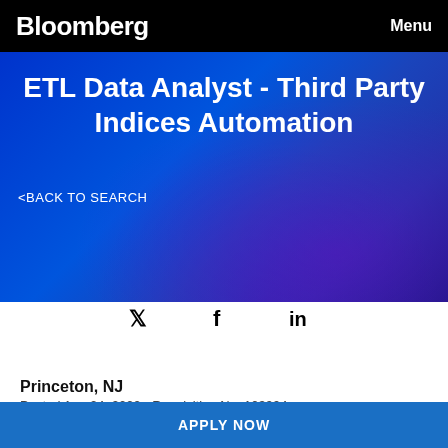Bloomberg    Menu
ETL Data Analyst - Third Party Indices Automation
<BACK TO SEARCH
[Figure (other): Social share icons: Twitter (bird icon), Facebook (f), LinkedIn (in)]
Princeton, NJ
Posted Aug 24, 2022 - Requisition No. 103994
APPLY NOW
APPLY NOW